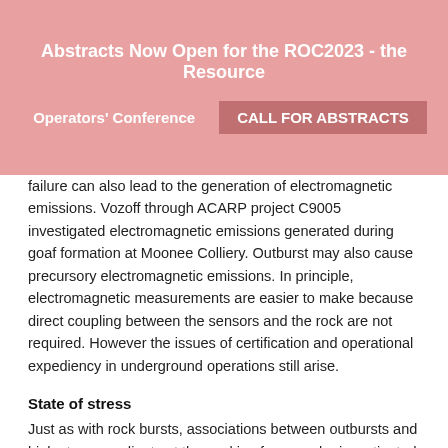Abstracts Now Open for the ROC2023 - the Resource Operators' Conference | CALL FOR ABSTRACTS
failure can also lead to the generation of electromagnetic emissions. Vozoff through ACARP project C9005 investigated electromagnetic emissions generated during goaf formation at Moonee Colliery. Outburst may also cause precursory electromagnetic emissions. In principle, electromagnetic measurements are easier to make because direct coupling between the sensors and the rock are not required. However the issues of certification and operational expediency in underground operations still arise.
State of stress
Just as with rock bursts, associations between outbursts and high stress gradients at the working face can be investigated by microseismic monitoring. With appropriate instrumentation, it is possible to locate seismic events in real-time and make an assessment as to the state of stress in the rock mass (current